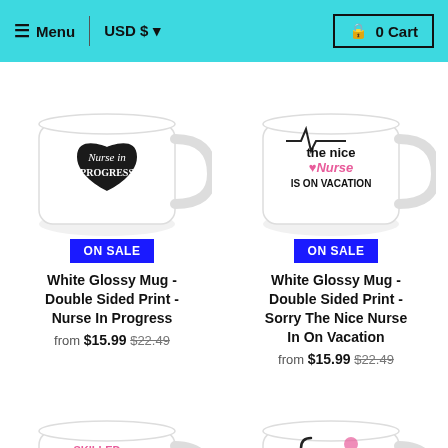Menu  USD $  0 Cart
[Figure (photo): White glossy mug with 'Nurse In Progress' text inside a heart shape on black background]
ON SALE
White Glossy Mug - Double Sided Print - Nurse In Progress
from $15.99 $22.49
[Figure (photo): White glossy mug with 'The Nice Nurse Is On Vacation' text in black and pink]
ON SALE
White Glossy Mug - Double Sided Print - Sorry The Nice Nurse In On Vacation
from $15.99 $22.49
[Figure (photo): White glossy mug with 'Skilled enough to become a Nurse, Crazy enough to love it' text in teal and pink]
[Figure (photo): White glossy mug with 'Straight Outta Nursing School' text with stethoscope and nurse hat icons]